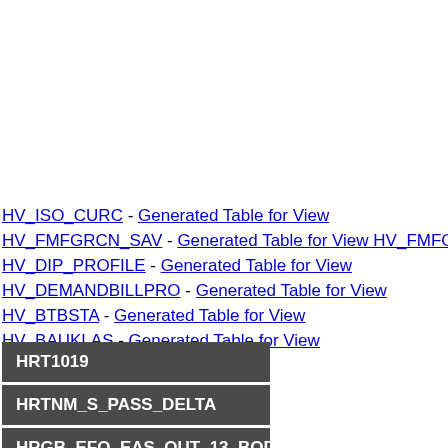HV_ISO_CURC - Generated Table for View
HV_FMFGRCN_SAV - Generated Table for View HV_FMFGRCN_SAV
HV_DIP_PROFILE - Generated Table for View
HV_DEMANDBILLPRO - Generated Table for View
HV_BTBSTA - Generated Table for View
HV_BAUKLAS - Generated Table for View
HRT1019
HRTNM_S_PASS_DELTA
HRGB_EFO_EAS_OUT_13_BODY